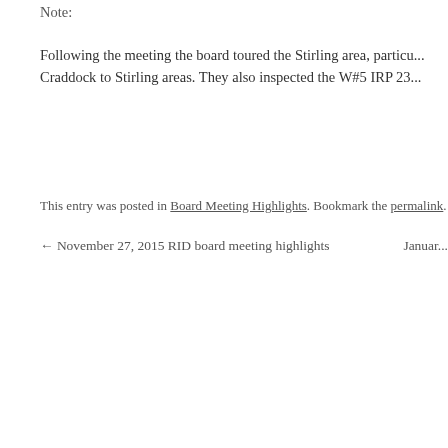Note:
Following the meeting the board toured the Stirling area, particu... Craddock to Stirling areas. They also inspected the W#5 IRP 23...
This entry was posted in Board Meeting Highlights. Bookmark the permalink.
← November 27, 2015 RID board meeting highlights      Januar...